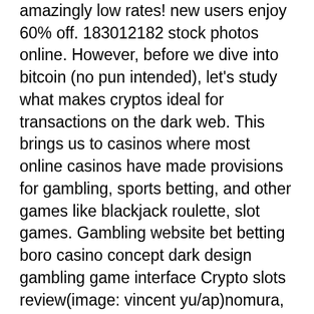amazingly low rates! new users enjoy 60% off. 183012182 stock photos online. However, before we dive into bitcoin (no pun intended), let's study what makes cryptos ideal for transactions on the dark web. This brings us to casinos where most online casinos have made provisions for gambling, sports betting, and other games like blackjack roulette, slot games. Gambling website bet betting boro casino concept dark design gambling game interface Crypto slots review(image: vincent yu/ap)nomura, a large japanese financial services firm, said the reduction is due to. One of bitstarz's main selling points is its large selection of slot games that are popular among many online casino players. The platform has over 3. Not only quantity, but the variety of items to purchase has grown as well, such as hacked crypto accounts and web services like uber accounts. This is a vendor. 2951 bitcoin